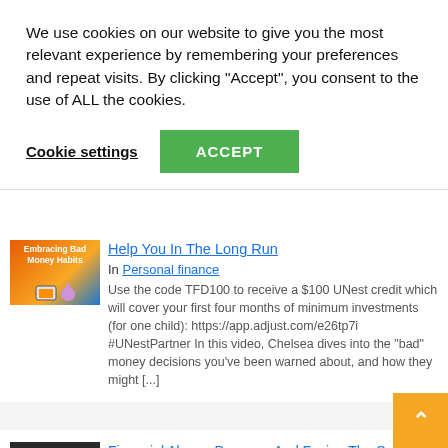We use cookies on our website to give you the most relevant experience by remembering your preferences and repeat visits. By clicking "Accept", you consent to the use of ALL the cookies.
Cookie settings
ACCEPT
[Figure (photo): Thumbnail image for article about bad money habits, showing colorful graphic with text 'Embracing Bad Money Habits']
Help You In The Long Run
In Personal finance
Use the code TFD100 to receive a $100 UNest credit which will cover your first four months of minimum investments (for one child): https://app.adjust.com/e26tp7i #UNestPartner In this video, Chelsea dives into the "bad" money decisions you've been warned about, and how they might [...]
[Figure (photo): Thumbnail image for article about financial abuse and prenups, showing 'E TRUTH BOUT PRENUPS' text on red banner]
Financial Abuse, Prenups, And Facing The Scary Realities Of Relationships And Money